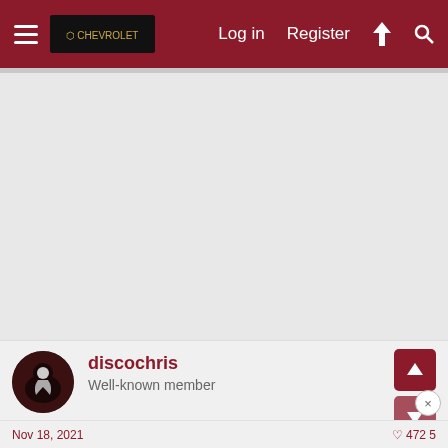Log in  Register
[Figure (screenshot): Large gray content area, likely a forum post with no visible text content]
discochris
Well-known member
Nov 18, 2021   472  5